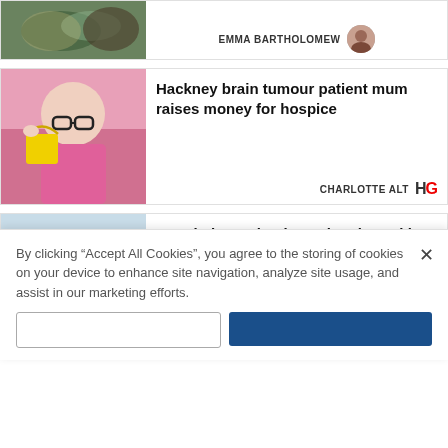[Figure (photo): Partial top card showing food dish image on left, author name EMMA BARTHOLOMEW with avatar on right]
EMMA BARTHOLOMEW
[Figure (photo): Woman in pink shirt holding yellow bucket, smiling, wearing glasses]
Hackney brain tumour patient mum raises money for hospice
CHARLOTTE ALT
[Figure (photo): Hospital building exterior]
Hospital trust bucks national trend by recruiting more UK medical staff
CHARLOTTE ALT
By clicking “Accept All Cookies”, you agree to the storing of cookies on your device to enhance site navigation, analyze site usage, and assist in our marketing efforts.